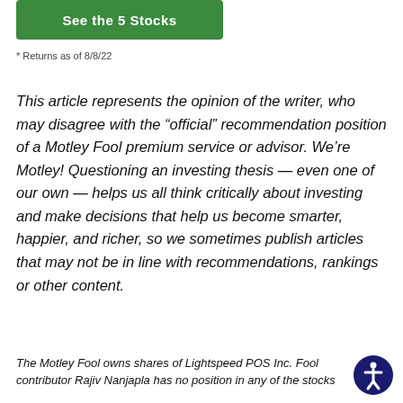[Figure (other): Green button labeled 'See the 5 Stocks']
* Returns as of 8/8/22
This article represents the opinion of the writer, who may disagree with the “official” recommendation position of a Motley Fool premium service or advisor. We’re Motley! Questioning an investing thesis — even one of our own — helps us all think critically about investing and make decisions that help us become smarter, happier, and richer, so we sometimes publish articles that may not be in line with recommendations, rankings or other content.
The Motley Fool owns shares of Lightspeed POS Inc. Fool contributor Rajiv Nanjapla has no position in any of the stocks